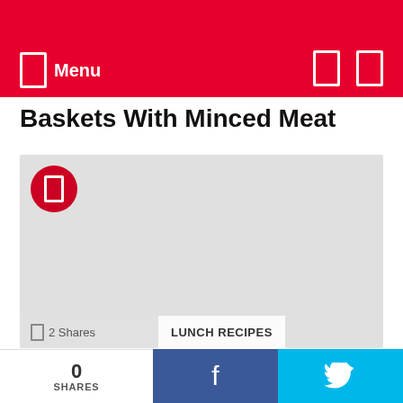Menu
Baskets With Minced Meat
[Figure (photo): Large light gray placeholder image for food recipe article, with red circular play button overlay in top-left and social share / category label bar at bottom showing '2 Shares' and 'LUNCH RECIPES']
Roasted Red Pepper Moussaka
0 SHARES   f   🐦